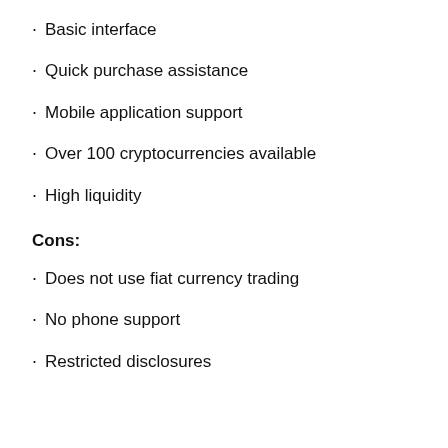Basic interface
Quick purchase assistance
Mobile application support
Over 100 cryptocurrencies available
High liquidity
Cons:
Does not use fiat currency trading
No phone support
Restricted disclosures